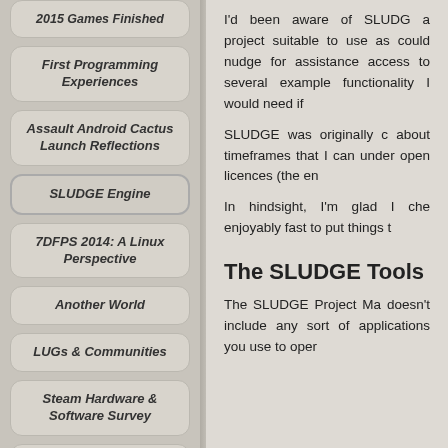2015 Games Finished
First Programming Experiences
Assault Android Cactus Launch Reflections
SLUDGE Engine
7DFPS 2014: A Linux Perspective
Another World
LUGs & Communities
Steam Hardware & Software Survey
Assault Android Cactus
7DFPS 2013: A Linux
I'd been aware of SLUDG a project suitable to use as could nudge for assistance access to several example functionality I would need if
SLUDGE was originally c about timeframes that I can under open licences (the en
In hindsight, I'm glad I che enjoyably fast to put things t
The SLUDGE Tools
The SLUDGE Project Ma doesn't include any sort of applications you use to oper